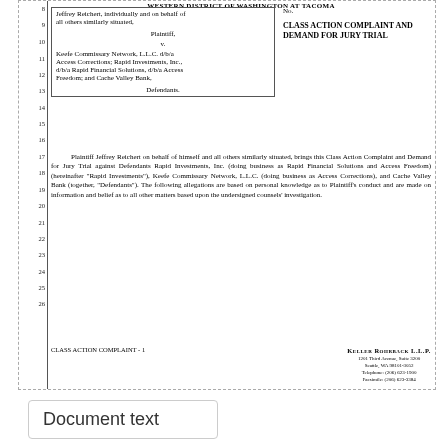WESTERN DISTRICT OF WASHINGTON AT TACOMA
| Plaintiff/Defendant | Case Info |
| --- | --- |
| Jeffrey Reichert, individually and on behalf of all others similarly situated, | No. |
| Plaintiff, | CLASS ACTION COMPLAINT AND DEMAND FOR JURY TRIAL |
| v. |  |
| Keefe Commissary Network, L.L.C. d/b/a Access Corrections; Rapid Investments, Inc., d/b/a Rapid Financial Solutions, d/b/a Access Freedom; and Cache Valley Bank, |  |
| Defendants. |  |
Plaintiff Jeffrey Reichert on behalf of himself and all others similarly situated, brings this Class Action Complaint and Demand for Jury Trial against Defendants Rapid Investments, Inc. (doing business as Rapid Financial Solutions and Access Freedom) (hereinafter "Rapid Investments"), Keefe Commissary Network, L.L.C. (doing business as Access Corrections), and Cache Valley Bank (together, "Defendants"). The following allegations are based on personal knowledge as to Plaintiff's conduct and are made on information and belief as to all other matters based upon the undersigned counsels' investigation.
CLASS ACTION COMPLAINT - 1
KELLER ROHRBACK L.L.P.
1201 Third Avenue, Suite 3200
Seattle, WA 98101-3052
TELEPHONE: (206) 623-1900
FACIMILE: (206) 623-3384